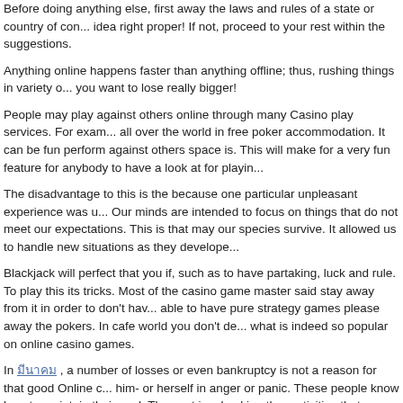Before doing anything else, first away the laws and rules of a state or country of con... idea right proper! If not, proceed to your rest within the suggestions.
Anything online happens faster than anything offline; thus, rushing things in variety o... you want to lose really bigger!
People may play against others online through many Casino play services. For exam... all over the world in free poker accommodation. It can be fun perform against others space is. This will make for a very fun feature for anybody to have a look at for playin...
The disadvantage to this is the because one particular unpleasant experience was u... Our minds are intended to focus on things that do not meet our expectations. This is that may our species survive. It allowed us to handle new situations as they develope...
Blackjack will perfect that you if, such as to have partaking, luck and rule. To play this its tricks. Most of the casino game master said stay away from it in order to don't hav... able to have pure strategy games please away the pokers. In cafe world you don't de... what is indeed so popular on online casino games.
In [link] , a number of losses or even bankruptcy is not a reason for that good Online ... him- or herself in anger or panic. These people know how to maintain their cool. They get involved in other activities that can soothe the grief for all of the money disappear...
Generally, mobile casinos are compatible with iPhone, Blackberry, Android, Windows... requires you to specify precise model you've before specialists . download the sport. compatibility issues before anything else.